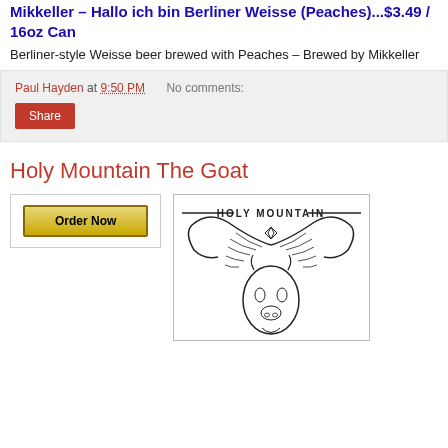Mikkeller – Hallo ich bin Berliner Weisse (Peaches)...$3.49 / 16oz Can
Berliner-style Weisse beer brewed with Peaches – Brewed by Mikkeller
Paul Hayden at 9:50 PM   No comments:
Share
Holy Mountain The Goat
[Figure (illustration): Holy Mountain beer label showing stylized goat horns and head with a star, with the text HOLY MOUNTAIN at the top between two horizontal lines]